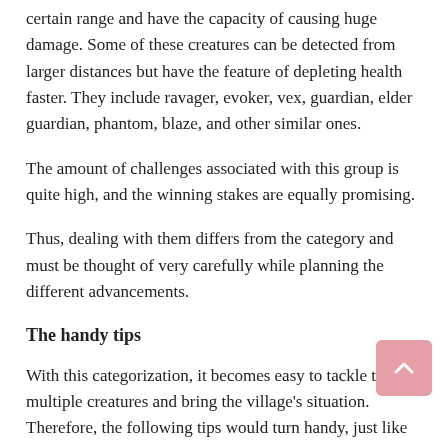certain range and have the capacity of causing huge damage. Some of these creatures can be detected from larger distances but have the feature of depleting health faster. They include ravager, evoker, vex, guardian, elder guardian, phantom, blaze, and other similar ones.
The amount of challenges associated with this group is quite high, and the winning stakes are equally promising.
Thus, dealing with them differs from the category and must be thought of very carefully while planning the different advancements.
The handy tips
With this categorization, it becomes easy to tackle the multiple creatures and bring the village's situation. Therefore, the following tips would turn handy, just like the mc account generator:
In the case of passive creatures, allow them to propagate to the optimal extent and always use them